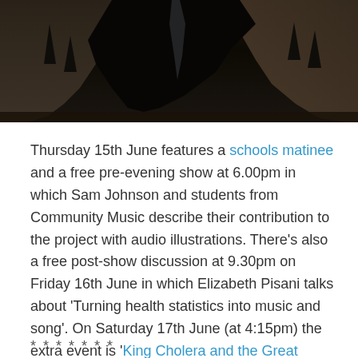[Figure (photo): Dark dramatic landscape photograph showing rocky cliffs or canyon walls with trees, appearing very dark and moody]
Thursday 15th June features a schools matinee and a free pre-evening show at 6.00pm in which Sam Johnson and students from Community Music describe their contribution to the project with audio illustrations. There's also a free post-show discussion at 9.30pm on Friday 16th June in which Elizabeth Pisani talks about 'Turning health statistics into music and song'. On Saturday 17th June (at 4:15pm) the extra event is 'King Cholera and the Great Metropolis Walk' a two-hour tour with guide Sophie Campbell exploring cholera in London's East End.
* * * * * * *